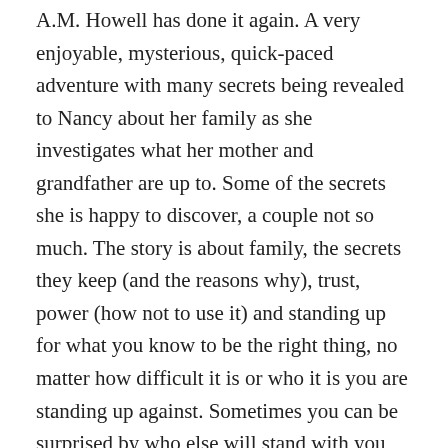A.M. Howell has done it again. A very enjoyable, mysterious, quick-paced adventure with many secrets being revealed to Nancy about her family as she investigates what her mother and grandfather are up to. Some of the secrets she is happy to discover, a couple not so much. The story is about family, the secrets they keep (and the reasons why), trust, power (how not to use it) and standing up for what you know to be the right thing, no matter how difficult it is or who it is you are standing up against. Sometimes you can be surprised by who else will stand with you once you start.
Anyone who knows me, knows I love a map in the front of a book. A.M. Howell doesn't disappoint, featuring a map of 1919 Prince St. Edwards Island to life here...